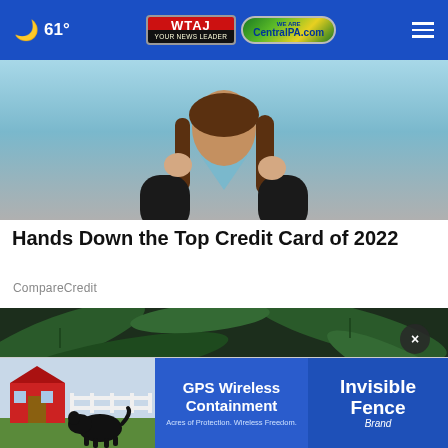☁ 61° | WTAJ CentralPA.com
[Figure (photo): Woman in black v-neck t-shirt with hands near collar, light blue background — credit card article thumbnail]
Hands Down the Top Credit Card of 2022
CompareCredit
[Figure (photo): Overhead view of a cup of herbal tea surrounded by green sage leaves]
[Figure (photo): Advertisement: GPS Wireless Containment — Invisible Fence Brand. Image of black labrador dog in front of red barn house.]